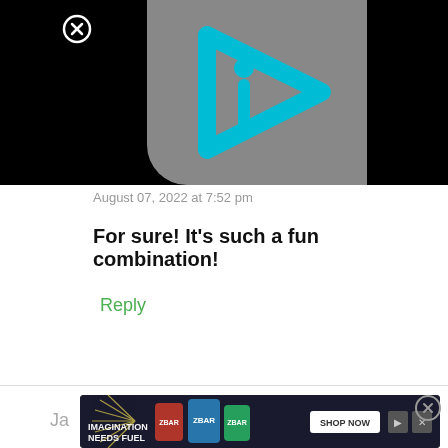[Figure (logo): Gray square with cyan play-button arrow and letter i logo on black background with close X button]
August 07, 2022 at 7:52 pm
For sure! It's such a fun combination!
Reply
[Figure (photo): Advertisement banner: IMAGINATION NEEDS FUEL with Z-BAR product images and SHOP NOW button]